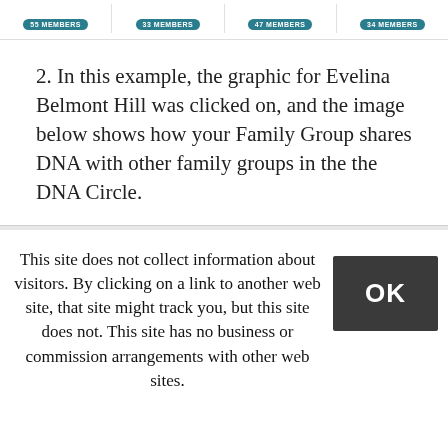[Figure (screenshot): Top strip showing four family group member cards each with a teal member count badge: 55 MEMBERS, 33 MEMBERS, 47 MEMBERS, 34 MEMBERS]
2. In this example, the graphic for Evelina Belmont Hill was clicked on, and the image below shows how your Family Group shares DNA with other family groups in the the DNA Circle.
[Figure (screenshot): Section header bar reading: DESCENDANTS OF EVELINA BELMONT HILL with an info icon]
This site does not collect information about visitors. By clicking on a link to another web site, that site might track you, but this site does not. This site has no business or commission arrangements with other web sites.